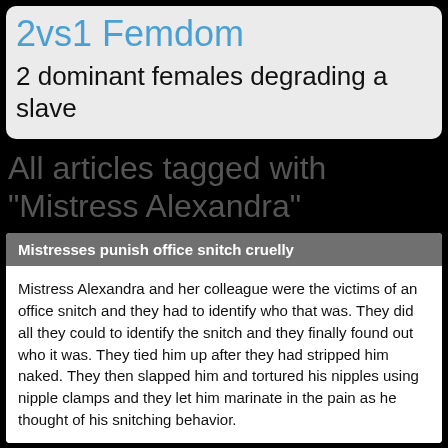2vs1 Femdom
2 dominant females degrading a slave
All articles tagged with "Mistress Alexandra"
Mistresses punish office snitch cruelly
Mistress Alexandra and her colleague were the victims of an office snitch and they had to identify who that was. They did all they could to identify the snitch and they finally found out who it was. They tied him up after they had stripped him naked. They then slapped him and tortured his nipples using nipple clamps and they let him marinate in the pain as he thought of his snitching behavior.